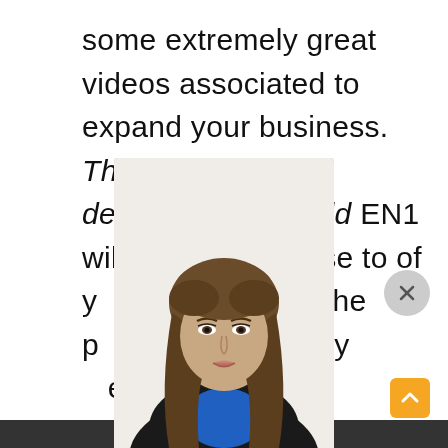some extremely great videos associated to expand your business. The best website developer in Enfield EN1 will be staying close to of you to provide you the pand also provide you the e for your business. Desi...
[Figure (photo): A woman with long brown hair wearing a black blazer over a blue top, shown from roughly the chest up, appearing as a video overlay in front of text content on a webpage. There is a grey circular close (X) button to the upper right, and an orange scroll-to-top button at the lower right. A dark footer bar is at the bottom.]